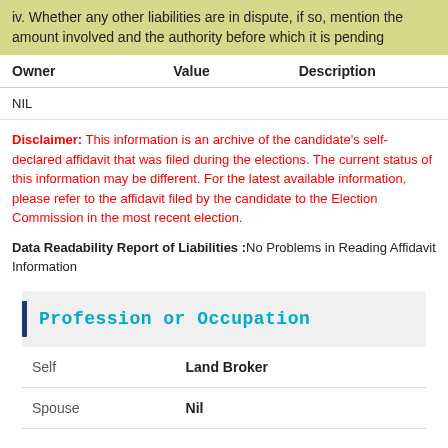iv. Whether any other liabilities are in dispute, if so, mention the amount involved and the authority before which it is pending
| Owner | Value | Description |
| --- | --- | --- |
| NIL |  |  |
Disclaimer: This information is an archive of the candidate’s self-declared affidavit that was filed during the elections. The current status of this information may be different. For the latest available information, please refer to the affidavit filed by the candidate to the Election Commission in the most recent election.
Data Readability Report of Liabilities :No Problems in Reading Affidavit Information
Profession or Occupation
|  |  |
| --- | --- |
| Self | Land Broker |
| Spouse | Nil |